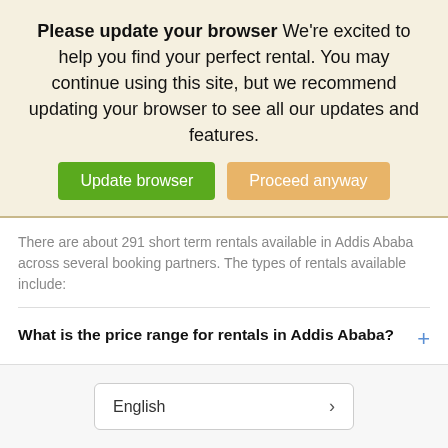Please update your browser We're excited to help you find your perfect rental. You may continue using this site, but we recommend updating your browser to see all our updates and features.
Update browser | Proceed anyway
There are about 291 short term rentals available in Addis Ababa across several booking partners. The types of rentals available include:
What is the price range for rentals in Addis Ababa?
What is the most popular type of vacation rental in Addis Ababa?
English